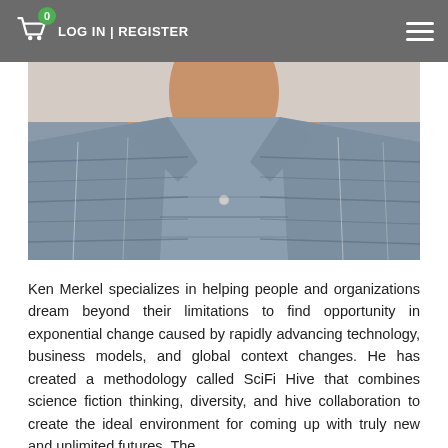LOG IN | REGISTER
[Figure (photo): Cropped photo of a man wearing a blue/grey plaid collared shirt, showing neck and chest area only (head cropped out), against a light background.]
Ken Merkel specializes in helping people and organizations dream beyond their limitations to find opportunity in exponential change caused by rapidly advancing technology, business models, and global context changes. He has created a methodology called SciFi Hive that combines science fiction thinking, diversity, and hive collaboration to create the ideal environment for coming up with truly new and unlimited futures. The